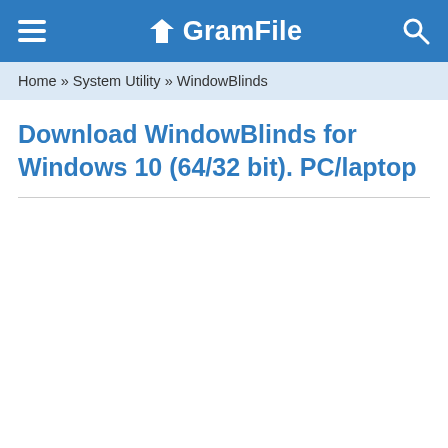GramFile
Home » System Utility » WindowBlinds
Download WindowBlinds for Windows 10 (64/32 bit). PC/laptop